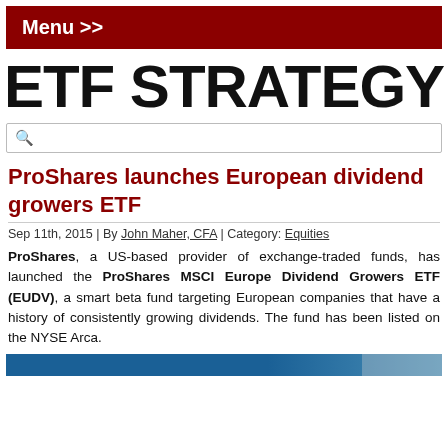Menu >>
ETF STRATEGY
ProShares launches European dividend growers ETF
Sep 11th, 2015 | By John Maher, CFA | Category: Equities
ProShares, a US-based provider of exchange-traded funds, has launched the ProShares MSCI Europe Dividend Growers ETF (EUDV), a smart beta fund targeting European companies that have a history of consistently growing dividends. The fund has been listed on the NYSE Arca.
[Figure (photo): Partial image at bottom of page, appears to be a financial/news related image with blue tones]